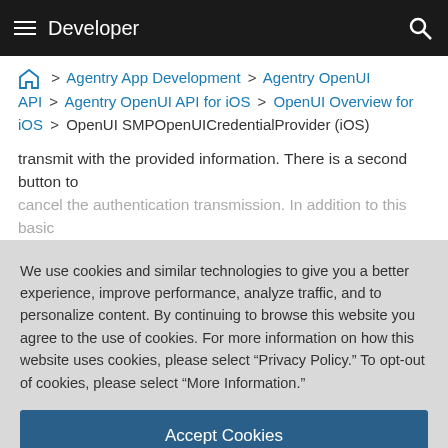Developer
> Agentry App Development > Agentry OpenUI API > Agentry OpenUI API for iOS > OpenUI Overview for iOS > OpenUI SMPOpenUICredentialProvider (iOS)
transmit with the provided information. There is a second button to cancel the authentication transmission. In addition to this basic
We use cookies and similar technologies to give you a better experience, improve performance, analyze traffic, and to personalize content. By continuing to browse this website you agree to the use of cookies. For more information on how this website uses cookies, please select “Privacy Policy.” To opt-out of cookies, please select “More Information.”
Accept Cookies
More Information
Privacy Policy | Powered by:  TrustArc
GUI